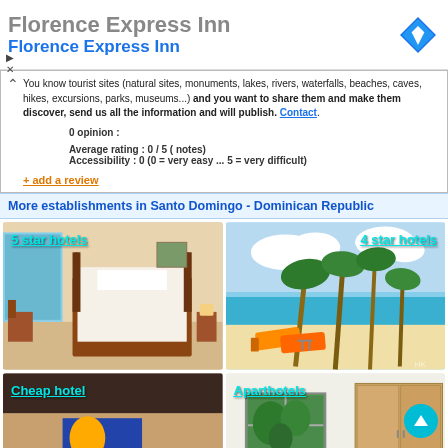Florence Express Inn
Florence Express Inn
You know tourist sites (natural sites, monuments, lakes, rivers, waterfalls, beaches, caves, hikes, excursions, parks, museums...) and you want to share them and make them discover, send us all the information and will publish. Contact.
0 opinion :
Average rating : 0 / 5 ( notes)
Accessibility : 0 (0 = very easy ... 5 = very difficult)
+ add a review
More establishments in Santo Domingo - Dominican Republic
[Figure (photo): 5 star hotels - hotel room interior with wooden four-poster bed and pool view]
[Figure (photo): 4 star hotels - tropical beach with palm trees and orange lounge chairs]
[Figure (photo): Cheap hotel - colorful budget hotel room]
[Figure (photo): Aparthotels - modern apartment with window and wooden wardrobe]